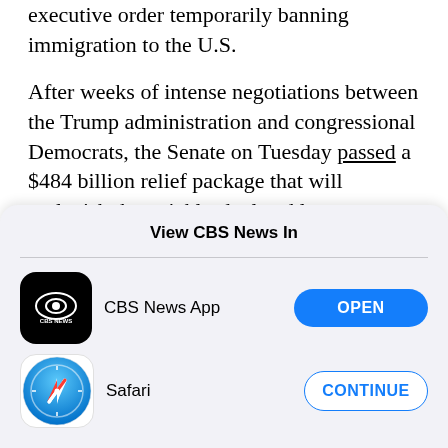executive order temporarily banning immigration to the U.S.
After weeks of intense negotiations between the Trump administration and congressional Democrats, the Senate on Tuesday passed a $484 billion relief package that will replenish the quickly-depleted loan program for small businesses ailing because of the coronavirus pandemic.
View CBS News In
[Figure (logo): CBS News App icon - black rounded square with CBS eye logo and CBS NEWS text]
CBS News App
OPEN
[Figure (logo): Safari browser icon - circular compass with red and white needle on blue gradient background]
Safari
CONTINUE